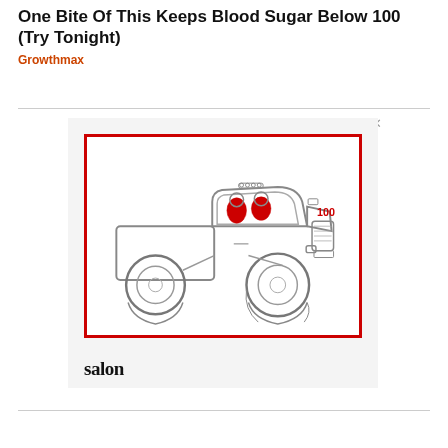One Bite Of This Keeps Blood Sugar Below 100 (Try Tonight)
Growthmax
[Figure (illustration): Advertisement banner showing a cartoon monster truck with two people in red shirts inside the cab, with a red 'salon' wordmark below the truck image. The truck illustration is outlined in black with red accent colors, surrounded by a thick red border.]